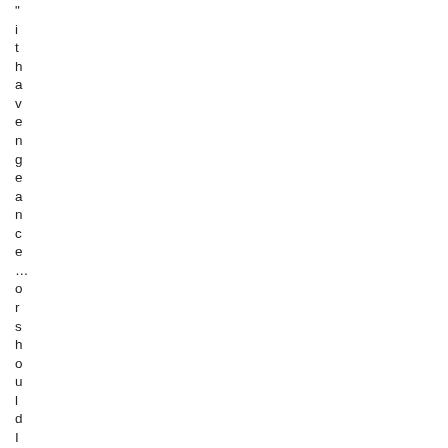"ithavengeancea ...or should I say: